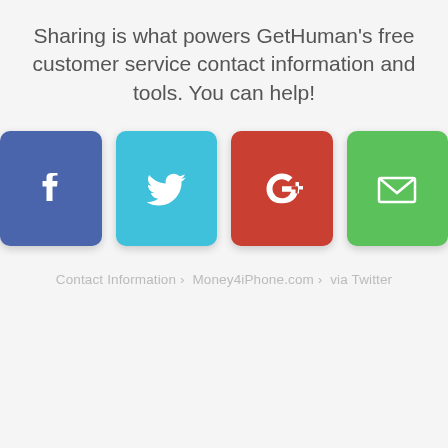Sharing is what powers GetHuman's free customer service contact information and tools. You can help!
[Figure (infographic): Four social sharing buttons: Facebook (blue), Twitter (cyan), Google+ (red), Email (green)]
Contact Information › Money4iPhone.com › via Twitter